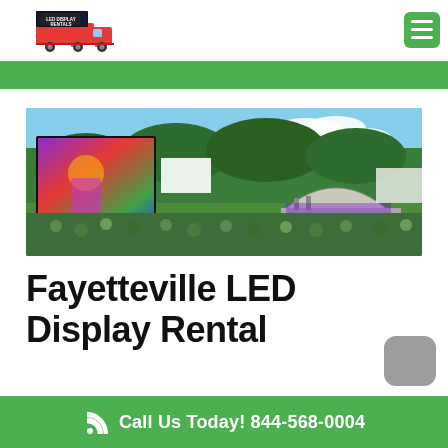[Figure (logo): LED Display Rentals logo with red truck and LED screen]
[Figure (photo): Outdoor concert or festival event with large LED display screen on the left and a covered stage on the right, crowd of people in foreground, green trees in background]
Fayetteville LED Display Rental
Call Us Today! 844-568-0004